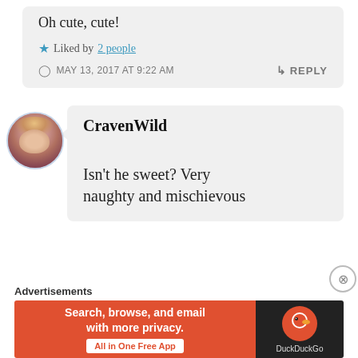Oh cute, cute!
Liked by 2 people
MAY 13, 2017 AT 9:22 AM
REPLY
[Figure (photo): Circular avatar photo of a woman with blonde/light hair]
CravenWild
Isn't he sweet? Very naughty and mischievous
Advertisements
[Figure (infographic): DuckDuckGo advertisement banner: Search, browse, and email with more privacy. All in One Free App.]